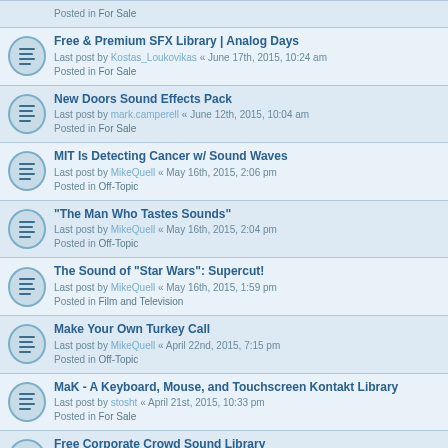Posted in For Sale
Free & Premium SFX Library | Analog Days
Last post by Kostas_Loukovikas « June 17th, 2015, 10:24 am
Posted in For Sale
New Doors Sound Effects Pack
Last post by mark.camperell « June 12th, 2015, 10:04 am
Posted in For Sale
MIT Is Detecting Cancer w/ Sound Waves
Last post by MikeQuell « May 16th, 2015, 2:06 pm
Posted in Off-Topic
"The Man Who Tastes Sounds"
Last post by MikeQuell « May 16th, 2015, 2:04 pm
Posted in Off-Topic
The Sound of "Star Wars": Supercut!
Last post by MikeQuell « May 16th, 2015, 1:59 pm
Posted in Film and Television
Make Your Own Turkey Call
Last post by MikeQuell « April 22nd, 2015, 7:15 pm
Posted in Off-Topic
MaK - A Keyboard, Mouse, and Touchscreen Kontakt Library
Last post by stosht « April 21st, 2015, 10:33 pm
Posted in For Sale
Free Corporate Crowd Sound Library
Last post by airbornesound « April 3rd, 2015, 7:42 am
Posted in For Sale